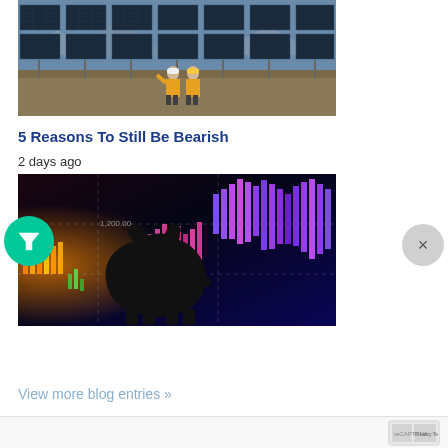[Figure (photo): Solar panel farm with two workers in orange vests and white hard hats walking among the panels under a blue sky]
5 Reasons To Still Be Bearish
2 days ago
[Figure (photo): Bear silhouette against a colorful stock market chart background with purple, blue, pink and yellow candlestick bars]
View more blog entries »